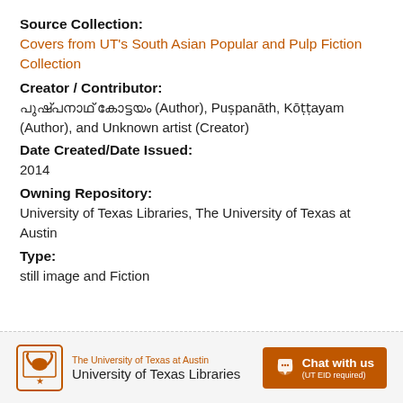Source Collection:
Covers from UT's South Asian Popular and Pulp Fiction Collection
Creator / Contributor:
പുഷ്പനാഥ് കോട്ടയം (Author), Puṣpanāth, Kōṭṭayam (Author), and Unknown artist (Creator)
Date Created/Date Issued:
2014
Owning Repository:
University of Texas Libraries, The University of Texas at Austin
Type:
still image and Fiction
The University of Texas at Austin University of Texas Libraries | Chat with us (UT EID required)